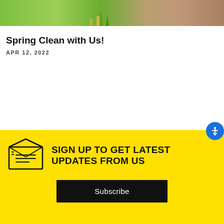[Figure (photo): Hero image showing plants growing from coins stacks and a person holding money, symbolizing financial growth and spring cleaning finances]
Spring Clean with Us!
APR 12, 2022
[Figure (illustration): Blue circular accessibility button with person icon, positioned on the right side]
SIGN UP TO GET LATEST UPDATES FROM US
Subscribe